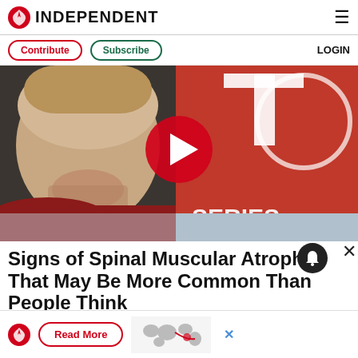INDEPENDENT
Contribute | Subscribe | LOGIN
[Figure (screenshot): Video thumbnail showing a YouTuber (PewDiePie) laughing on the left and a T-Series logo in red on the right, with a large red circular play button in the center.]
Signs of Spinal Muscular Atrophy That May Be More Common Than People Think
[Figure (infographic): Advertisement banner with The Independent logo, a red-bordered 'Read More' button, a world map graphic, and a blue X close button.]